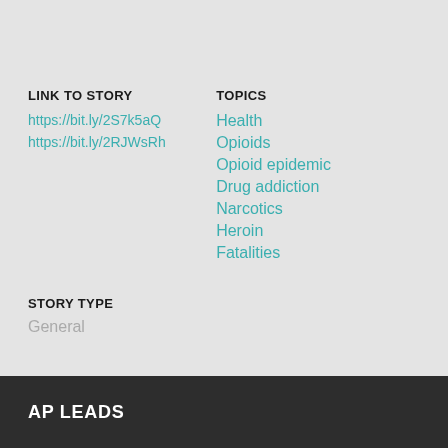LINK TO STORY
https://bit.ly/2S7k5aQ
https://bit.ly/2RJWsRh
TOPICS
Health
Opioids
Opioid epidemic
Drug addiction
Narcotics
Heroin
Fatalities
STORY TYPE
General
AP LEADS